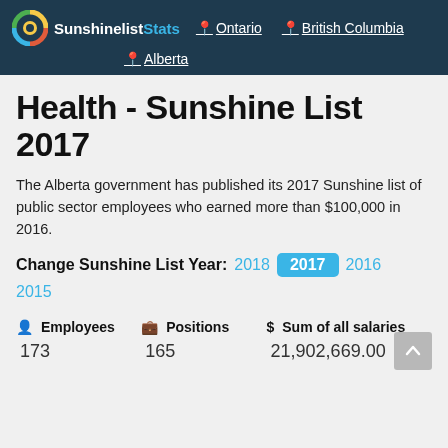SunshinelistStats | Ontario | British Columbia | Alberta
Health - Sunshine List 2017
The Alberta government has published its 2017 Sunshine list of public sector employees who earned more than $100,000 in 2016.
Change Sunshine List Year: 2018 | 2017 (active) | 2016 | 2015
| Employees | Positions | Sum of all salaries |
| --- | --- | --- |
| 173 | 165 | 21,902,669.00 |